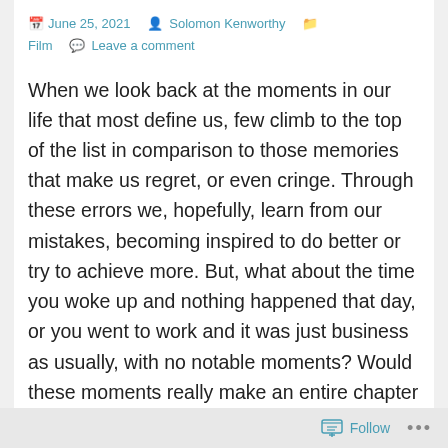June 25, 2021  Solomon Kenworthy  Film  Leave a comment
When we look back at the moments in our life that most define us, few climb to the top of the list in comparison to those memories that make us regret, or even cringe. Through these errors we, hopefully, learn from our mistakes, becoming inspired to do better or try to achieve more. But, what about the time you woke up and nothing happened that day, or you went to work and it was just business as usually, with no notable moments? Would these moments really make an entire chapter in anyone's autobiography? Probably not. Unfortunately, half way through
Follow ...